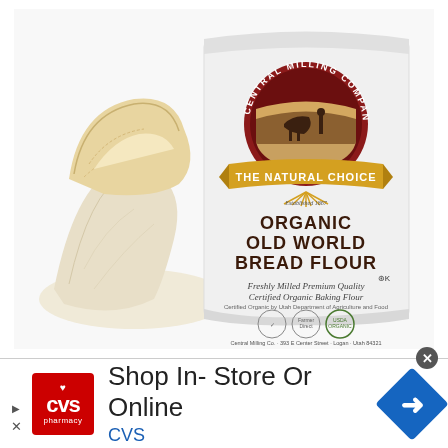[Figure (photo): Central Milling Company Organic Old World Bread Flour bag next to a pile of flour. The bag is white with the company's circular logo featuring a farmer with horse at the top, a gold banner reading 'The Natural Choice', and text reading 'ORGANIC OLD WORLD BREAD FLOUR' with certifications at the bottom.]
[Figure (photo): CVS Pharmacy advertisement banner at the bottom of the page reading 'Shop In-Store Or Online' with CVS logo on the left and a blue navigation arrow icon on the right.]